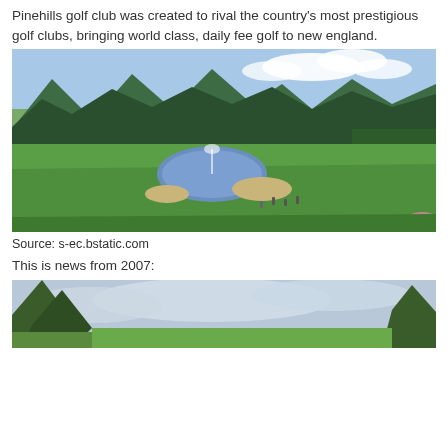Pinehills golf club was created to rival the country's most prestigious golf clubs, bringing world class, daily fee golf to new england.
[Figure (photo): Aerial view of a golf course with a pond and fountain in the center, surrounded by green fairways, bunkers, pine trees, and forested mountains in the background under a partly cloudy sky.]
Source: s-ec.bstatic.com
This is news from 2007:
[Figure (photo): Partial view of a golf course with trees in the foreground and a cloudy sky, cropped at the bottom of the page.]